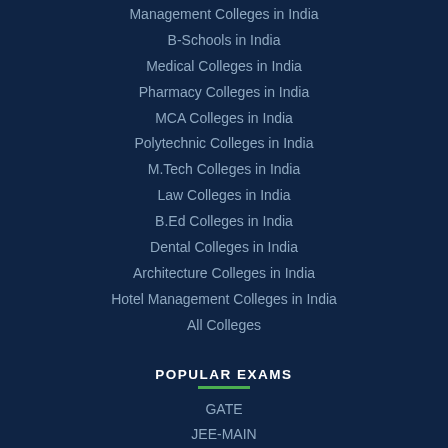Management Colleges in India
B-Schools in India
Medical Colleges in India
Pharmacy Colleges in India
MCA Colleges in India
Polytechnic Colleges in India
M.Tech Colleges in India
Law Colleges in India
B.Ed Colleges in India
Dental Colleges in India
Architecture Colleges in India
Hotel Management Colleges in India
All Colleges
POPULAR EXAMS
GATE
JEE-MAIN
JEE-ADVANCED
CAT
MAT
NEET
CMAT